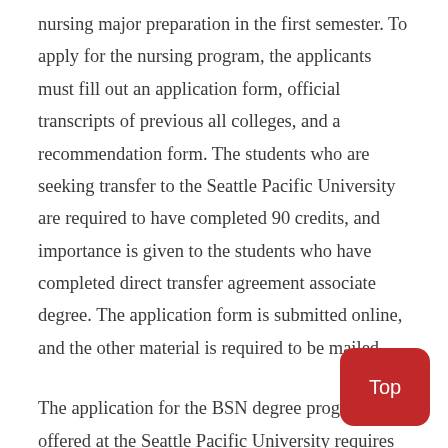nursing major preparation in the first semester. To apply for the nursing program, the applicants must fill out an application form, official transcripts of previous all colleges, and a recommendation form. The students who are seeking transfer to the Seattle Pacific University are required to have completed 90 credits, and importance is given to the students who have completed direct transfer agreement associate degree. The application form is submitted online, and the other material is required to be mailed.
The application for the BSN degree program offered at the Seattle Pacific University requires minimum eligibility criteria. A GPA of 3.0 with grade C is a prerequisite for getting admitted to the Bachelor